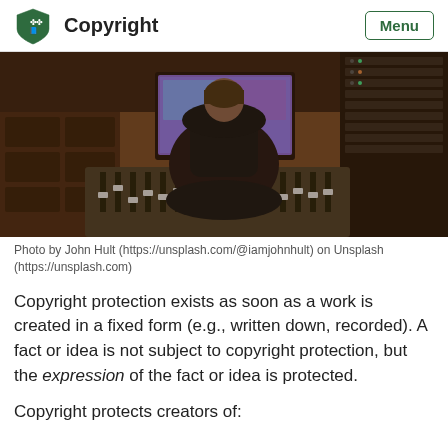Copyright
[Figure (photo): Person sitting in a music recording studio with back to camera, surrounded by mixing consoles, audio equipment, and monitors.]
Photo by John Hult (https://unsplash.com/@iamjohnhult) on Unsplash (https://unsplash.com)
Copyright protection exists as soon as a work is created in a fixed form (e.g., written down, recorded). A fact or idea is not subject to copyright protection, but the expression of the fact or idea is protected.
Copyright protects creators of: